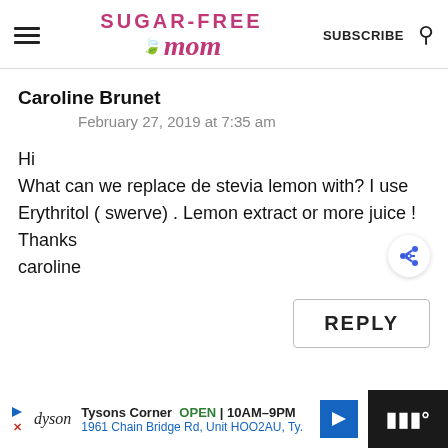Sugar-Free Mom — SUBSCRIBE
Caroline Brunet
February 27, 2019 at 7:35 am
Hi
What can we replace de stevia lemon with? I use Erythritol ( swerve) . Lemon extract or more juice ! Thanks caroline
REPLY
Tysons Corner OPEN | 10AM–9PM 1961 Chain Bridge Rd, Unit HOO2AU, Ty.